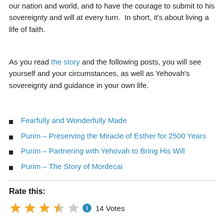our nation and world, and to have the courage to submit to his sovereignty and will at every turn.  In short, it's about living a life of faith.
As you read the story and the following posts, you will see yourself and your circumstances, as well as Yehovah's sovereignty and guidance in your own life.
Fearfully and Wonderfully Made
Purim – Preserving the Miracle of Esther for 2500 Years
Purim – Partnering with Yehovah to Bring His Will
Purim – The Story of Mordecai
Rate this:
14 Votes